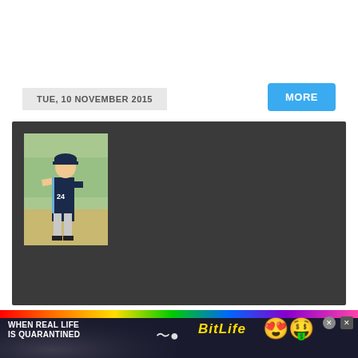TUE, 10 NOVEMBER 2015
MORE
[Figure (photo): Dark panel with a baseball player photo on the left side. Young player in navy uniform on a baseball field.]
heck out this brand new clip fro
[Figure (infographic): Advertisement banner: WHEN REAL LIFE IS QUARANTINED with BitLife game logo, rainbow stripe, emoji graphics]